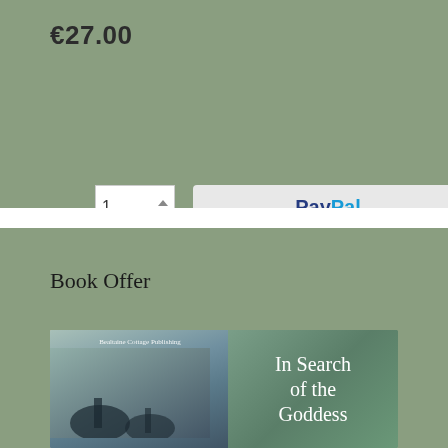€27.00
[Figure (screenshot): Quantity selector box showing '1' with up/down arrows, PayPal checkout button, and credit card logos: Visa, Mastercard, Amex, Discover]
Book Offer
[Figure (photo): Two books side by side on a wooden surface; left book published by Bealtaine Cottage Publishing with a nature cover image; right book titled 'In Search of the Goddess' with a green teal cover]